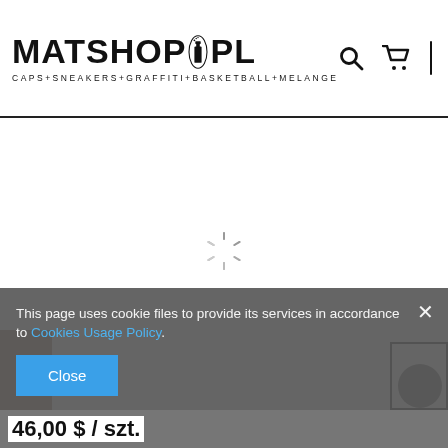MATSHOP.PL CAPS+SNEAKERS+GRAFFITI+BASKETBALL+MELANGE
[Figure (screenshot): Loading spinner (circular dashed spinner SVG) in center of white content area]
This page uses cookie files to provide its services in accordance to Cookies Usage Policy.
Close
46,00 $ / szt.